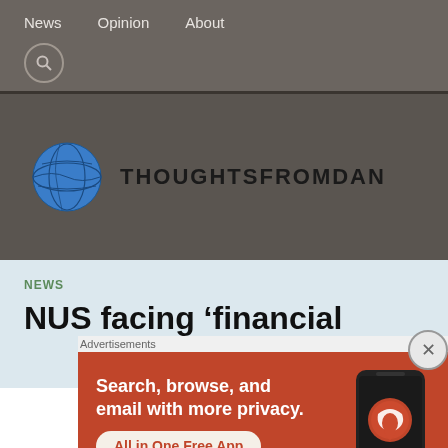News   Opinion   About
[Figure (logo): ThoughtsFromDan website logo with globe icon and text THOUGHTSFROMDAN]
NEWS
NUS facing ‘financial
[Figure (illustration): DuckDuckGo advertisement banner: Search, browse, and email with more privacy. All in One Free App. Shows a smartphone with the DuckDuckGo app logo.]